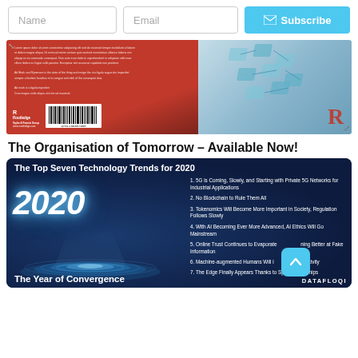[Figure (screenshot): Subscribe bar with Name and Email input fields and a cyan Subscribe button with envelope icon]
[Figure (photo): Book cover image showing a red Routledge book back cover on the left with barcode, and a blue 3D network/technology diagram on the right with Routledge R logo]
The Organisation of Tomorrow – Available Now!
[Figure (infographic): Dark blue infographic titled 'The Top Seven Technology Trends for 2020' with large '2020' text, a glowing platform, and a list of 7 technology trends on the right side. Bottom text reads 'The Year of Convergence' and 'DATAFLOQ' logo.]